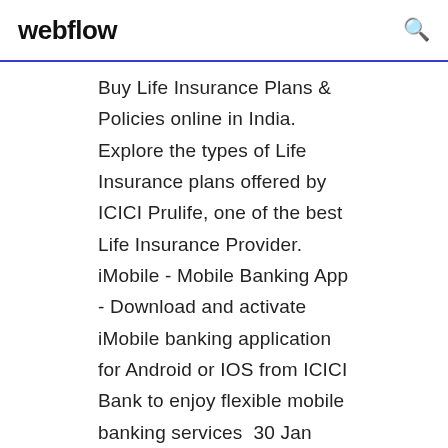webflow
Buy Life Insurance Plans & Policies online in India. Explore the types of Life Insurance plans offered by ICICI Prulife, one of the best Life Insurance Provider. iMobile - Mobile Banking App - Download and activate iMobile banking application for Android or IOS from ICICI Bank to enjoy flexible mobile banking services  30 Jan 2015 Presenting IPRUTOUCH, our Distributor Mobile and Tablet Application that helps you simplify your business by providing you access to key  28 Nov 2019 Complete Data & Analysis for all mutual funds by ICICI Prudential MF in 2019. Click on submit and an official will get in touch with you in 24 hours. Download ClearTax App to file returns from